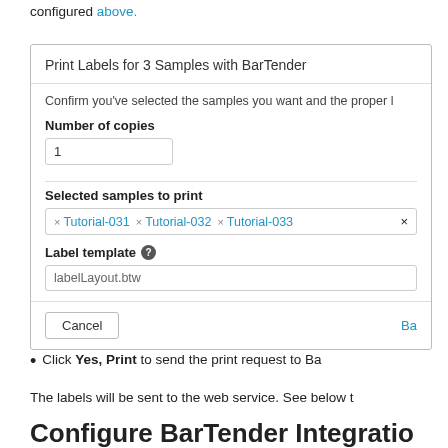configured above.
[Figure (screenshot): Dialog box titled 'Print Labels for 3 Samples with BarTender' showing fields: Number of copies (value: 1), Selected samples to print (Tutorial-031, Tutorial-032, Tutorial-033), Label template (labelLayout.btw), with Cancel and Ba... buttons at the bottom.]
Click Yes, Print to send the print request to Ba...
The labels will be sent to the web service. See below...
Configure BarTender Integration...